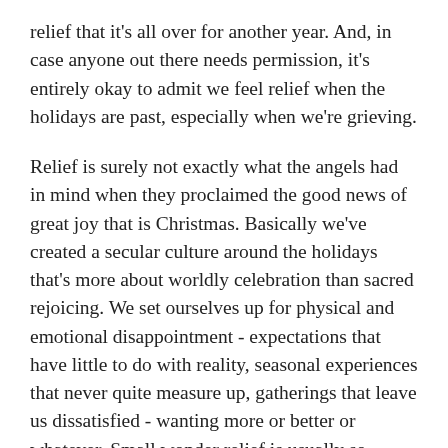relief that it's all over for another year. And, in case anyone out there needs permission, it's entirely okay to admit we feel relief when the holidays are past, especially when we're grieving.
Relief is surely not exactly what the angels had in mind when they proclaimed the good news of great joy that is Christmas. Basically we've created a secular culture around the holidays that's more about worldly celebration than sacred rejoicing. We set ourselves up for physical and emotional disappointment - expectations that have little to do with reality, seasonal experiences that never quite measure up, gatherings that leave us dissatisfied - wanting more or better or whatever. Small wonder relief is usually so welcome...
When we grieve, navigating the holidays may feel a little